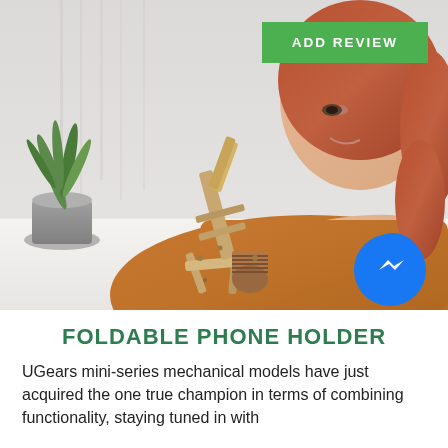[Figure (photo): A woman with red hair wearing an orange jacket leans on a white table, looking at a small wooden foldable phone holder model. A potted plant is visible in the background on the left. A green 'ADD REVIEW' button appears in the top right corner, and a Facebook Messenger icon is in the bottom right of the image.]
FOLDABLE PHONE HOLDER
UGears mini-series mechanical models have just acquired the one true champion in terms of combining functionality, staying tuned in with